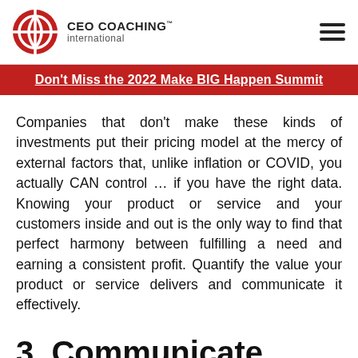CEO COACHING™ international
Don't Miss the 2022 Make BIG Happen Summit
Companies that don't make these kinds of investments put their pricing model at the mercy of external factors that, unlike inflation or COVID, you actually CAN control ... if you have the right data. Knowing your product or service and your customers inside and out is the only way to find that perfect harmony between fulfilling a need and earning a consistent profit. Quantify the value your product or service delivers and communicate it effectively.
3. Communicate value.